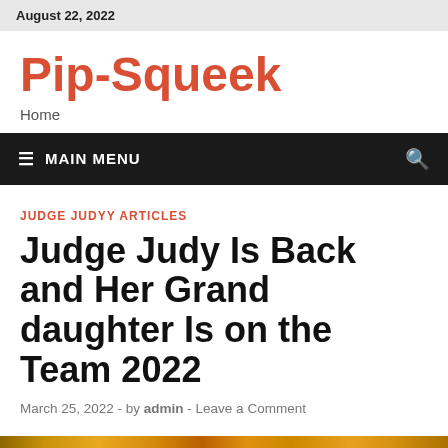August 22, 2022
Pip-Squeek
Home
≡ MAIN MENU
JUDGE JUDYY ARTICLES
Judge Judy Is Back and Her Grand daughter Is on the Team 2022
March 25, 2022 - by admin - Leave a Comment
[Figure (photo): Partial image strip at bottom of page, appears to be a colorful photo related to the article]